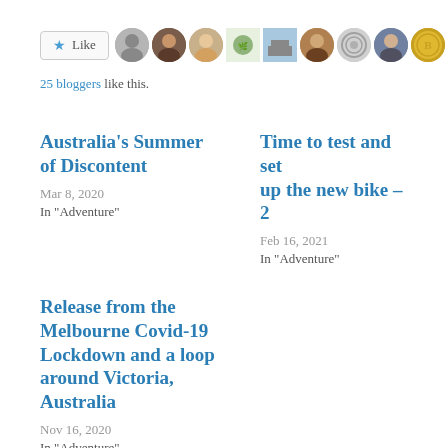[Figure (other): Like button with star icon and 8 blogger avatar thumbnails in a row]
25 bloggers like this.
Australia's Summer of Discontent
Mar 8, 2020
In "Adventure"
Time to test and set up the new bike – 2
Feb 16, 2021
In "Adventure"
Release from the Melbourne Covid-19 Lockdown and a loop around Victoria, Australia
Nov 16, 2020
In "Adventure"